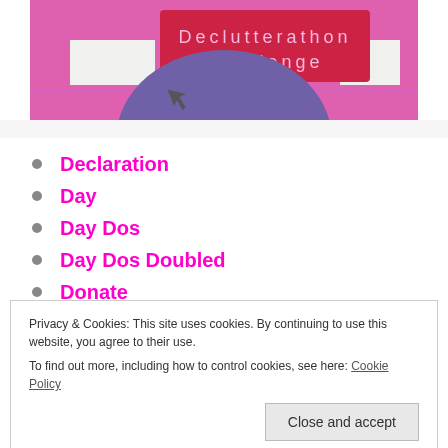[Figure (screenshot): Screenshot of a 'Declutterathon Challenge' graphic with magenta/pink background, white rectangular cut-outs, a red banner with 'Declutterathon Challenge' text, and a large purple circle in the center. A cursor arrow is visible.]
Declaration
Day
Day Dos
Day Dos Doubled
Donate
Privacy & Cookies: This site uses cookies. By continuing to use this website, you agree to their use.
To find out more, including how to control cookies, see here: Cookie Policy
Dumped